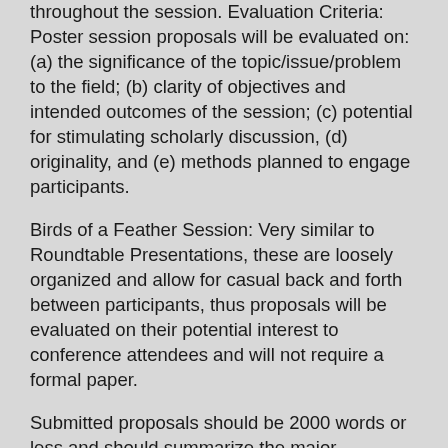throughout the session. Evaluation Criteria: Poster session proposals will be evaluated on: (a) the significance of the topic/issue/problem to the field; (b) clarity of objectives and intended outcomes of the session; (c) potential for stimulating scholarly discussion, (d) originality, and (e) methods planned to engage participants.
Birds of a Feather Session: Very similar to Roundtable Presentations, these are loosely organized and allow for casual back and forth between participants, thus proposals will be evaluated on their potential interest to conference attendees and will not require a formal paper.
Submitted proposals should be 2000 words or less and should summarize the major objectives or focus, the theoretical perspective, research methods or techniques, data sources, results, conclusions, and educational or scientific significance of the work. Each submission